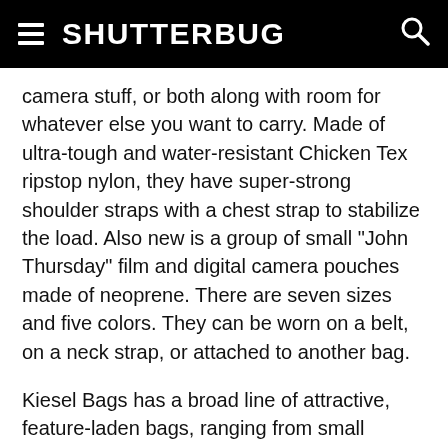SHUTTERBUG
camera stuff, or both along with room for whatever else you want to carry. Made of ultra-tough and water-resistant Chicken Tex ripstop nylon, they have super-strong shoulder straps with a chest strap to stabilize the load. Also new is a group of small "John Thursday" film and digital camera pouches made of neoprene. There are seven sizes and five colors. They can be worn on a belt, on a neck strap, or attached to another bag.
Kiesel Bags has a broad line of attractive, feature-laden bags, ranging from small pouches for a film or digital camera along with a few accessories (with an MSRP of $10-$20) up to large professional bags for